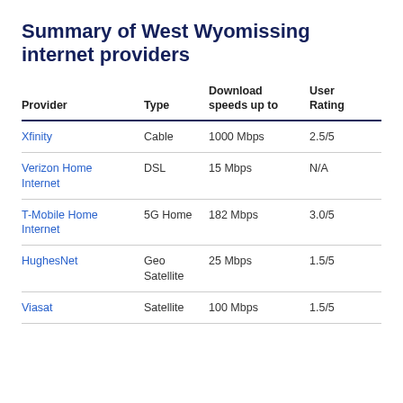Summary of West Wyomissing internet providers
| Provider | Type | Download speeds up to | User Rating |
| --- | --- | --- | --- |
| Xfinity | Cable | 1000 Mbps | 2.5/5 |
| Verizon Home Internet | DSL | 15 Mbps | N/A |
| T-Mobile Home Internet | 5G Home | 182 Mbps | 3.0/5 |
| HughesNet | Geo Satellite | 25 Mbps | 1.5/5 |
| Viasat | Satellite | 100 Mbps | 1.5/5 |